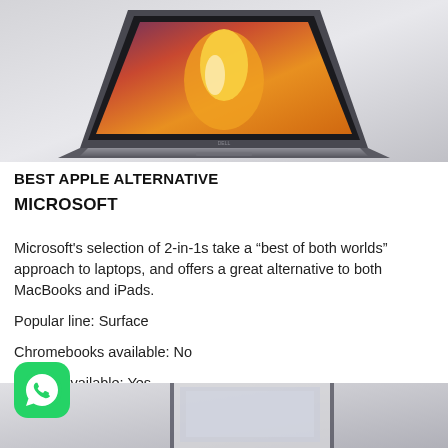[Figure (photo): A Dell laptop open at an angle showing a vivid fantasy-themed wallpaper with fire and mountains, photographed against a light grey background]
BEST APPLE ALTERNATIVE
MICROSOFT
Microsoft's selection of 2-in-1s take a “best of both worlds” approach to laptops, and offers a great alternative to both MacBooks and iPads.
Popular line: Surface
Chromebooks available: No
2-in-1s available: Yes.
[Figure (photo): Partial bottom image showing what appears to be a Microsoft Surface or similar device in a light/office environment, partially covered by a WhatsApp icon overlay]